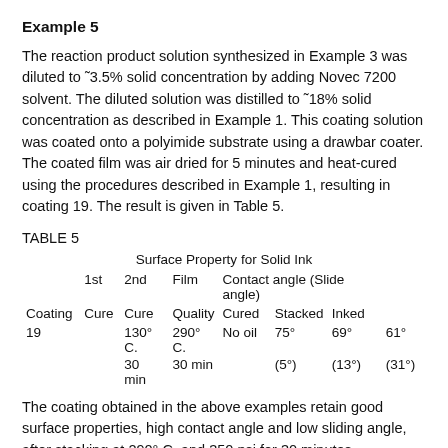Example 5
The reaction product solution synthesized in Example 3 was diluted to ~3.5% solid concentration by adding Novec 7200 solvent. The diluted solution was distilled to ~18% solid concentration as described in Example 1. This coating solution was coated onto a polyimide substrate using a drawbar coater. The coated film was air dried for 5 minutes and heat-cured using the procedures described in Example 1, resulting in coating 19. The result is given in Table 5.
TABLE 5
| Coating | 1st Cure | 2nd Cure | Film Quality | Cured | Stacked | Inked |
| --- | --- | --- | --- | --- | --- | --- |
| 19 | 130° C. 30 min | 290° C. 30 min | No oil | 75° (5°) | 69° (13°) | 61° (31°) |
The coating obtained in the above examples retain good surface properties, high contact angle and low sliding angle, after stacking at 290° C. and 350 psi for 30 minutes,